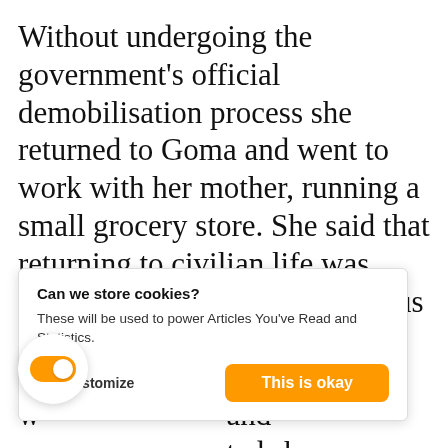Without undergoing the government's official demobilisation process she returned to Goma and went to work with her mother, running a small grocery store. She said that returning to civilian life was hard – she had none of the status s… 1s seen and t… nunity. She w… and w… ted she was t… otted the store, and the business suffered. Things a… owly getting easier, and she is a… ing to civilian life. This transition is easier for women than for men, she says,
[Figure (screenshot): Cookie consent dialog overlay with title 'Can we store cookies?', description text 'These will be used to power Articles You've Read and Statistics.', a 'No, Customize' button on the left and an orange 'This is okay' button on the right.]
[Figure (screenshot): Orange toggle switch (enabled/on position) in a white circular button at the bottom left of the page.]